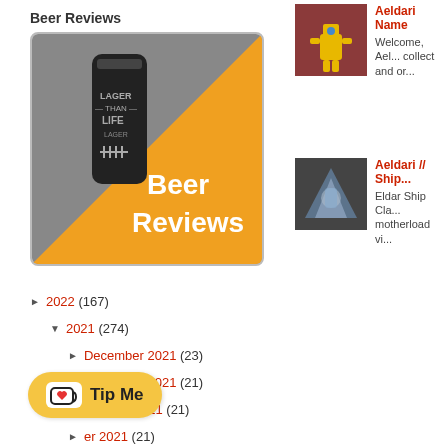Beer Reviews
[Figure (photo): Beer Reviews promotional image with a dark beer can labeled 'Lager Than Life' against an orange and dark background, with large white text reading 'Beer Reviews']
▶ 2022 (167)
▼ 2021 (274)
▶ December 2021 (23)
▶ November 2021 (21)
▶ October 2021 (21)
▶ ...er 2021 (21)
▶ ...2021 (22)
Warlord Games -
[Figure (photo): Yellow robot/miniature figure against a red door background — thumbnail for Aeldari Name article]
Aeldari Name Welcome, Aeldari... collect and or...
[Figure (photo): Blue/purple space ship or Eldar ship model — thumbnail for Aeldari // Ship article]
Aeldari // Ship... Eldar Ship Cla... motherload vi...